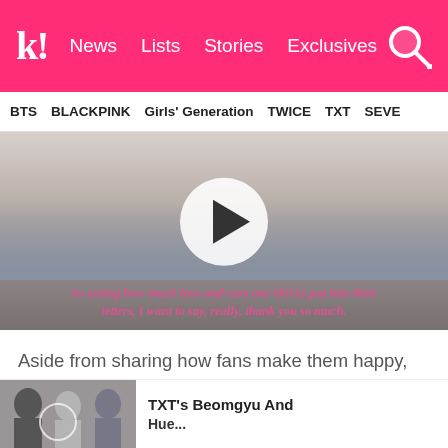k! News Lists Stories Exclusives
BTS BLACKPINK Girls' Generation TWICE TXT SEVE
[Figure (screenshot): Video thumbnail of a TXT member with blonde hair and a play button overlay. Subtitle text reads: So seeing how much love and care our MOAs put into their letters, I want to say, really, thank you so much.]
Aside from sharing how fans make them happy, TXT was also asked who their dream collaborations are. Find out who they chose in the article below!
TXT's Beomgyu And ...